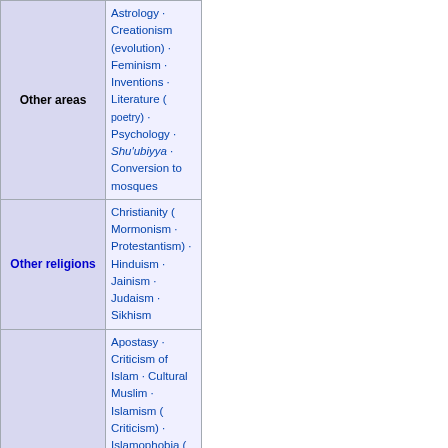| Other areas | Astrology · Creationism (evolution) · Feminism · Inventions · Literature ( poetry) · Psychology · Shu'ubiyya · Conversion to mosques |
| Other religions | Christianity ( Mormonism · Protestantism) · Hinduism · Jainism · Judaism · Sikhism |
| Related topics | Apostasy · Criticism of Islam · Cultural Muslim · Islamism ( Criticism) · Islamophobia ( Incidents) · Islamic terrorism · Islamic view of miracles · Domestic violence · Nursing · Persecution of Muslims · Quran and miracles · Qutbism · Symbolism |
Iraq articles
| History | Ancient | Sumer · Akkadian Empire · Babylonia · Assyria · Neo-Assyrian Empire · Neo-Babylonian Empire · Achaemenid Assyria · Seleucid Babylonia · Parthian Babylonia · Sassanid Asorestan |
| History | 638–1958 | Muslim conquest of Persia · Abbasid Caliphate · Buyid dynasty · Kara Koyunlu · Ak Koyunlu · Sa... Ottoman Iraq (Mamluk dynasty) · Mandatory Ira... Kingdom of Iraq · Arab Federation |
| History | 1958–68 · 1968–2003 · 2003–11 · 2011–presen... |  |